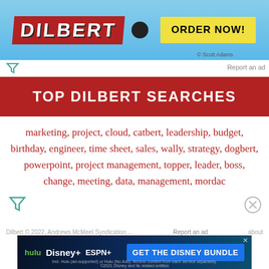[Figure (illustration): Dilbert comic advertisement banner with 'DILBERT' text in red and 'ORDER NOW!' yellow button on light blue background]
Report an ad
TOP DILBERT SEARCHES
marketing, project, cloud, catbert, leadership, budget, birthday, engineer, time sheet, sales, wally, strategy, dogbert, powerpoint, project management, topper, leader, boss, change, meeting, data, management, mordac
[Figure (illustration): Disney Bundle advertisement: GET THE DISNEY BUNDLE with hulu, Disney+, ESPN+ logos]
Dilbert © 2022, Andrews McMeel Syndication ... Report an ad ... about ... Privacy ... Terms ... Licensing ...